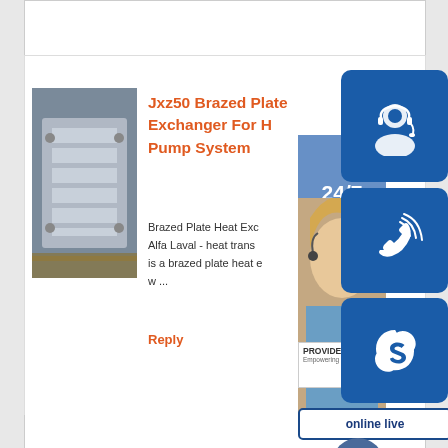[Figure (photo): Metal machined part (brazed plate heat exchanger component) — silver metal with ridged/finned structure, industrial product photo]
Jxz50 Brazed Plate Heat Exchanger For Heat Pump System
Brazed Plate Heat Exchanger - Alfa Laval - heat trans ... is a brazed plate heat e ... w ...
Reply
[Figure (infographic): Overlay UI widget: 24/7 support panel with customer service lady photo, headset icon (blue rounded square), phone icon (blue rounded square), Skype icon (blue rounded square), PROVIDE badge, online live button, scroll-up arrow button]